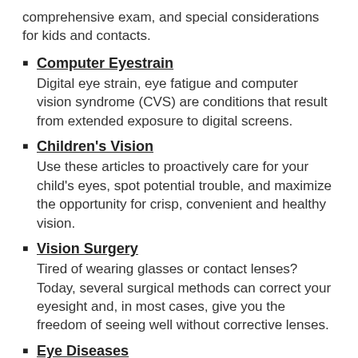comprehensive exam, and special considerations for kids and contacts.
Computer Eyestrain
Digital eye strain, eye fatigue and computer vision syndrome (CVS) are conditions that result from extended exposure to digital screens.
Children's Vision
Use these articles to proactively care for your child's eyes, spot potential trouble, and maximize the opportunity for crisp, convenient and healthy vision.
Vision Surgery
Tired of wearing glasses or contact lenses? Today, several surgical methods can correct your eyesight and, in most cases, give you the freedom of seeing well without corrective lenses.
Eye Diseases
Read more about some of the most common eye diseases, including cataracts, glaucoma, and more.